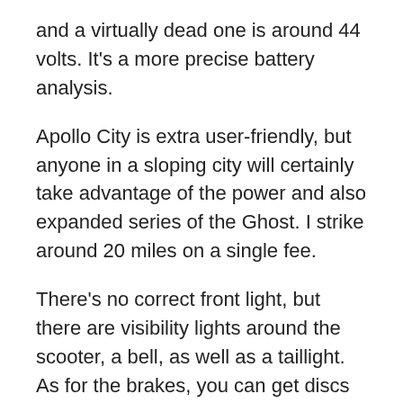and a virtually dead one is around 44 volts. It's a more precise battery analysis.
Apollo City is extra user-friendly, but anyone in a sloping city will certainly take advantage of the power and also expanded series of the Ghost. I strike around 20 miles on a single fee.
There's no correct front light, but there are visibility lights around the scooter, a bell, as well as a taillight. As for the brakes, you can get discs or upgrade to hydraulic ones.
The previous supplied enough quiting power for me, however the latter is more responsive and also reliable.